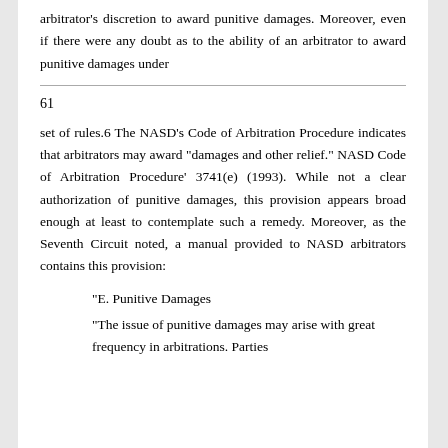arbitrator's discretion to award punitive damages. Moreover, even if there were any doubt as to the ability of an arbitrator to award punitive damages under
61
set of rules.6 The NASD's Code of Arbitration Procedure indicates that arbitrators may award "damages and other relief." NASD Code of Arbitration Procedure' 3741(e) (1993). While not a clear authorization of punitive damages, this provision appears broad enough at least to contemplate such a remedy. Moreover, as the Seventh Circuit noted, a manual provided to NASD arbitrators contains this provision:
"E. Punitive Damages
"The issue of punitive damages may arise with great frequency in arbitrations. Parties